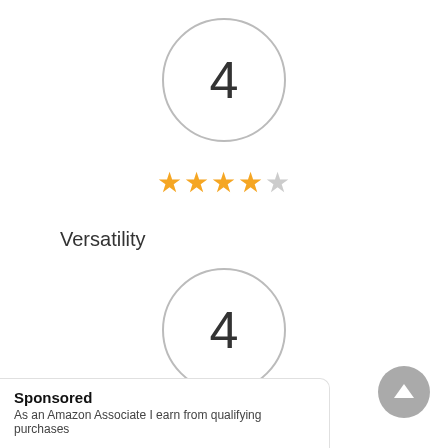[Figure (infographic): Circle with number 4 inside representing a rating score]
[Figure (infographic): 4 out of 5 stars rating shown with gold and gray stars]
Versatility
[Figure (infographic): Circle with number 4 inside representing a rating score]
[Figure (infographic): 4 out of 5 stars rating shown with gold and gray stars]
Sponsored
As an Amazon Associate I earn from qualifying purchases